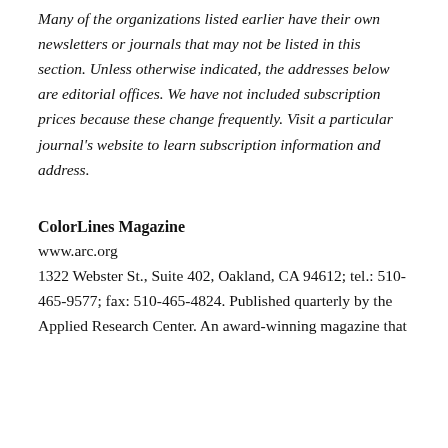Many of the organizations listed earlier have their own newsletters or journals that may not be listed in this section. Unless otherwise indicated, the addresses below are editorial offices. We have not included subscription prices because these change frequently. Visit a particular journal's website to learn subscription information and address.
ColorLines Magazine
www.arc.org
1322 Webster St., Suite 402, Oakland, CA 94612; tel.: 510-465-9577; fax: 510-465-4824. Published quarterly by the Applied Research Center. An award-winning magazine that